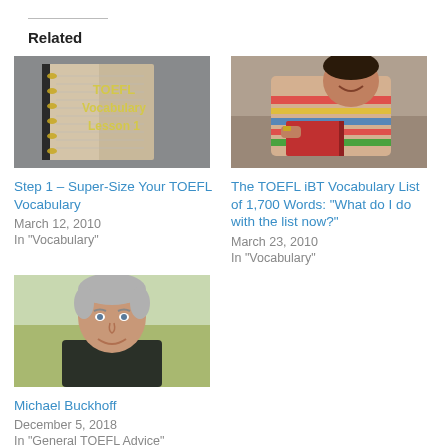Related
[Figure (photo): Open book with text overlay: TOEFL Vocabulary Lesson 1]
Step 1 – Super-Size Your TOEFL Vocabulary
March 12, 2010
In "Vocabulary"
[Figure (photo): Woman in striped shirt reading a red book]
The TOEFL iBT Vocabulary List of 1,700 Words: "What do I do with the list now?"
March 23, 2010
In "Vocabulary"
[Figure (photo): Headshot of smiling man (Michael Buckhoff) outdoors]
Michael Buckhoff
December 5, 2018
In "General TOEFL Advice"